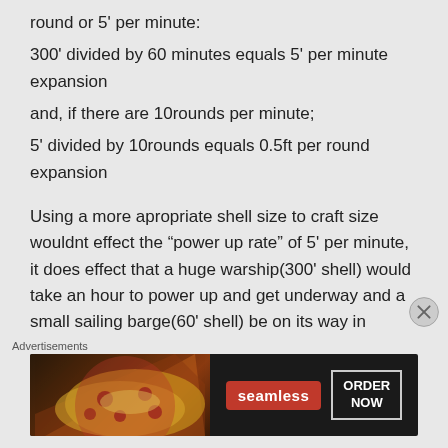round or 5' per minute:
300' divided by 60 minutes equals 5' per minute expansion
and, if there are 10rounds per minute;
5' divided by 10rounds equals 0.5ft per round expansion

Using a more apropriate shell size to craft size wouldnt effect the “power up rate” of 5' per minute, it does effect that a huge warship(300' shell) would take an hour to power up and get underway and a small sailing barge(60' shell) be on its way in under 10minutes
[Figure (photo): Advertisement banner for Seamless food ordering service showing pizza image on left, Seamless logo in red badge, and ORDER NOW button]
Advertisements